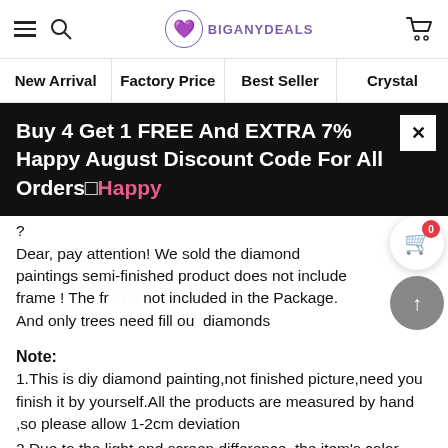BIGANYDEALS — navigation header with hamburger, search, logo, and cart
New Arrival
Factory Price
Best Seller
Crystal
Buy 4 Get 1 FREE And EXTRA 7% Happy August Discount Code For All Orders□Happy
Dear, pay attention! We sold the diamond paintings semi-finished product does not include frame ! The frame not included in the Package. And only trees need fill out diamonds
Note:
1.This is diy diamond painting,not finished picture,need you finish it by yourself.All the products are measured by hand ,so please allow 1-2cm deviation
2.Due to the light and screen difference, the item's color may be slightly different from the pictures. Please